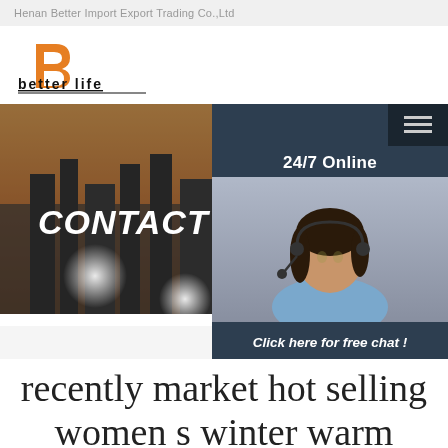Henan Better Import Export Trading Co.,Ltd
[Figure (logo): Better Life company logo with orange B icon and 'better life' text underlined]
[Figure (photo): CONTACT US banner with city skyline background, glare light circles, dark overlay]
[Figure (photo): Sidebar widget: 24/7 Online label, customer service woman with headset, Click here for free chat text, QUOTATION orange button]
Home »Product
recently market hot selling women s winter warm house slippers designer sheepskin soft-soled fur slippers women s shoo